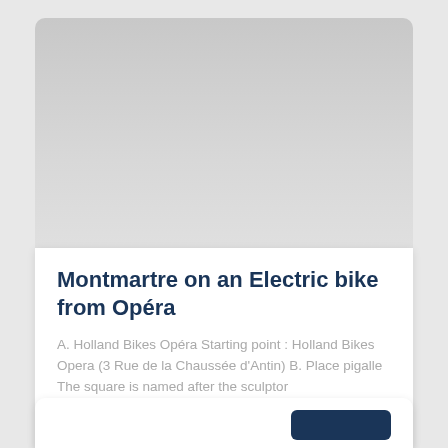[Figure (photo): Gray gradient image placeholder at the top of a card]
Montmartre on an Electric bike from Opéra
A. Holland Bikes Opéra Starting point : Holland Bikes Opera (3 Rue de la Chaussée d'Antin) B. Place pigalle The square is named after the sculptor
READ MORE »